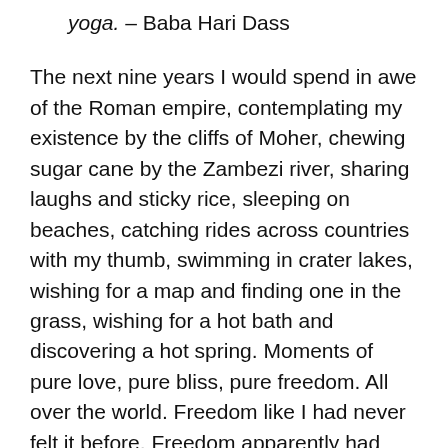yoga. – Baba Hari Dass
The next nine years I would spend in awe of the Roman empire, contemplating my existence by the cliffs of Moher, chewing sugar cane by the Zambezi river, sharing laughs and sticky rice, sleeping on beaches, catching rides across countries with my thumb, swimming in crater lakes, wishing for a map and finding one in the grass, wishing for a hot bath and discovering a hot spring. Moments of pure love, pure bliss, pure freedom. All over the world. Freedom like I had never felt it before. Freedom apparently had nothing to do with where I was, or how much money I had in my back pocket. It appeared to have little to do with where I would eat lunch or where I would lay my head at night. Not every